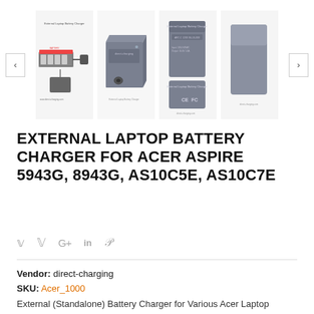[Figure (photo): Product image gallery showing four images of an External Laptop Battery Charger: a diagram/schematic, a 3D view of the charger box, front and back views of the charger with CE/FC markings. Navigation arrows on left and right.]
EXTERNAL LAPTOP BATTERY CHARGER FOR ACER ASPIRE 5943G, 8943G, AS10C5E, AS10C7E
Social share icons: Twitter, Facebook, Google+, LinkedIn, Pinterest
Vendor: direct-charging
SKU: Acer_1000
External (Standalone) Battery Charger for Various Acer Laptop Battery Models. Ideal for charging your spare battery outside the laptop Compatibility details Charges Acer Laptop Batteries with